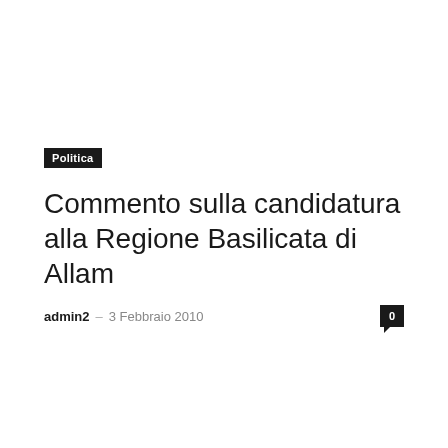Politica
Commento sulla candidatura alla Regione Basilicata di Allam
admin2 – 3 Febbraio 2010